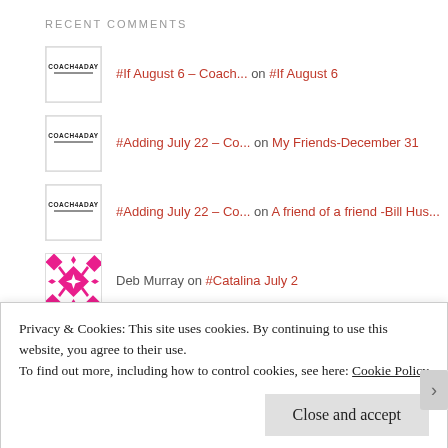RECENT COMMENTS
#If August 6 - Coach... on #If August 6
#Adding July 22 - Co... on My Friends-December 31
#Adding July 22 - Co... on A friend of a friend -Bill Hus...
Deb Murray on #Catalina July 2
#Habits May 3 - Coac... on #Stacking September 21
Privacy & Cookies: This site uses cookies. By continuing to use this website, you agree to their use. To find out more, including how to control cookies, see here: Cookie Policy
Close and accept